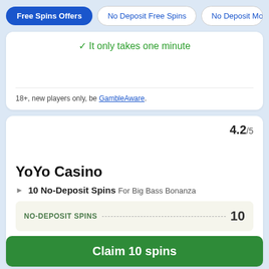Free Spins Offers | No Deposit Free Spins | No Deposit Mo...
✓ It only takes one minute
18+, new players only, be GambleAware.
4.2/5
YoYo Casino
10 No-Deposit Spins For Big Bass Bonanza
| NO-DEPOSIT SPINS |  |
| --- | --- |
|  | 10 |
Claim 10 spins